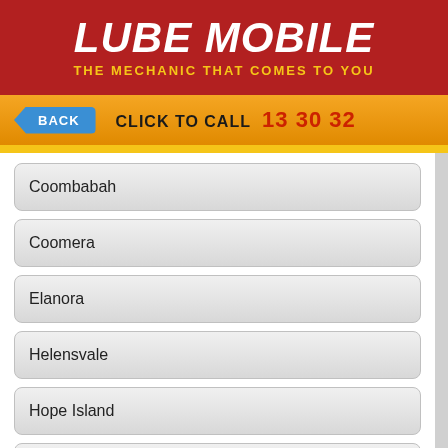LUBE MOBILE
THE MECHANIC THAT COMES TO YOU
BACK   CLICK TO CALL 13 30 32
Coombabah
Coomera
Elanora
Helensvale
Hope Island
Labrador
Maudsland
Mermaid Waters